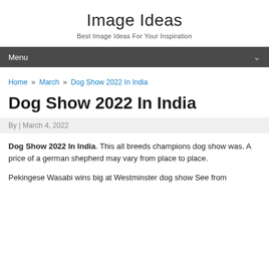Image Ideas
Best Image Ideas For Your Inspiration
Menu
Home » March » Dog Show 2022 In India
Dog Show 2022 In India
By | March 4, 2022
Dog Show 2022 In India. This all breeds champions dog show was. A price of a german shepherd may vary from place to place.
Pekingese Wasabi wins big at Westminster dog show See from